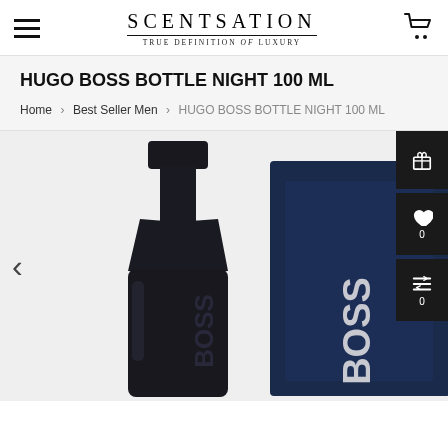SCENTSATION — TRUE DEFINITION of LUXURY
HUGO BOSS BOTTLE NIGHT 100 ML
Home > Best Seller Men > HUGO BOSS BOTTLE NIGHT 100 ML
[Figure (photo): Product photo of Hugo Boss Bottle Night 100ml perfume — a dark navy/black glass bottle with BOSS branding next to its navy blue box, shown against a light grey background.]